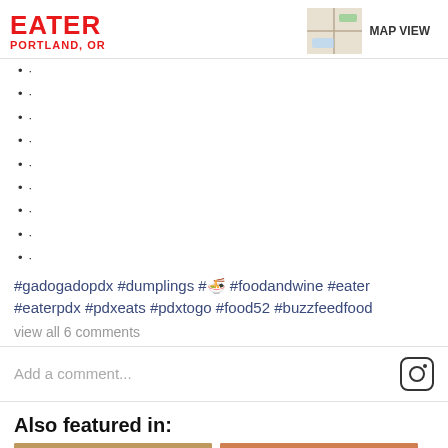EATER PORTLAND, OR — MAP VIEW
•
•
•
•
•
•
•
•
•
#gadogadopdx #dumplings #🍜 #foodandwine #eater #eaterpdx #pdxeats #pdxtogo #food52 #buzzfeedfood
view all 6 comments
Add a comment...
Also featured in:
[Figure (photo): Food bowls on wooden table — multiple dishes]
[Figure (photo): The Hottest New — dish on blue plate]